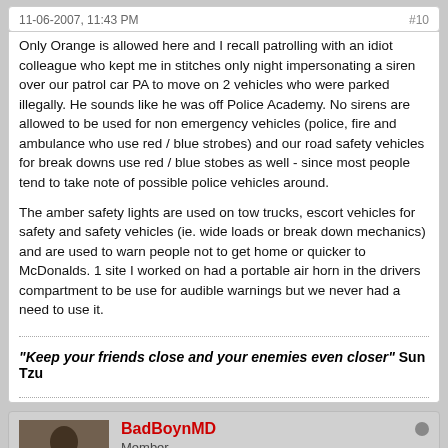11-06-2007, 11:43 PM   #10
Only Orange is allowed here and I recall patrolling with an idiot colleague who kept me in stitches only night impersonating a siren over our patrol car PA to move on 2 vehicles who were parked illegally. He sounds like he was off Police Academy. No sirens are allowed to be used for non emergency vehicles (police, fire and ambulance who use red / blue strobes) and our road safety vehicles for break downs use red / blue stobes as well - since most people tend to take note of possible police vehicles around.

The amber safety lights are used on tow trucks, escort vehicles for safety and safety vehicles (ie. wide loads or break down mechanics) and are used to warn people not to get home or quicker to McDonalds. 1 site I worked on had a portable air horn in the drivers compartment to be use for audible warnings but we never had a need to use it.
"Keep your friends close and your enemies even closer" Sun Tzu
BadBoynMD
Member
Join Date: Feb 2007   Posts: 408
11-06-2007, 11:59 PM   #11